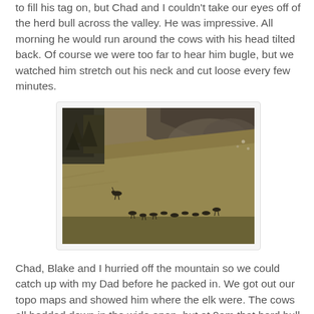to fill his tag on, but Chad and I couldn't take our eyes off of the herd bull across the valley. He was impressive. All morning he would run around the cows with his head tilted back. Of course we were too far to hear him bugle, but we watched him stretch out his neck and cut loose every few minutes.
[Figure (photo): A distant herd of elk on an open hillside/valley slope with rocky terrain in the background. The animals appear as small dark silhouettes across the wide grassy landscape.]
Chad, Blake and I hurried off the mountain so we could catch up with my Dad before he packed in. We got out our topo maps and showed him where the elk were. The cows all bedded down in the wide open, but at 9am that herd bull got